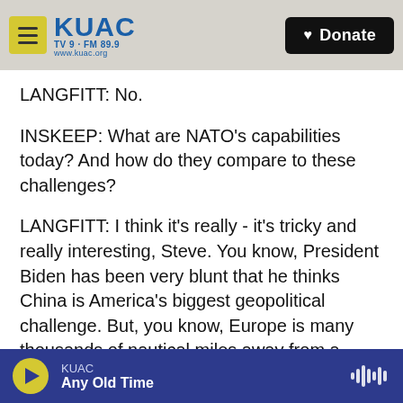KUAC TV9 · FM 89.9 www.kuac.org | Donate
LANGFITT: No.
INSKEEP: What are NATO's capabilities today? And how do they compare to these challenges?
LANGFITT: I think it's really - it's tricky and really interesting, Steve. You know, President Biden has been very blunt that he thinks China is America's biggest geopolitical challenge. But, you know, Europe is many thousands of nautical miles away from a place like the South China Sea. And when you look at the NATO nations, the U.S. is far and away the dominant military. The next two largest
KUAC | Any Old Time